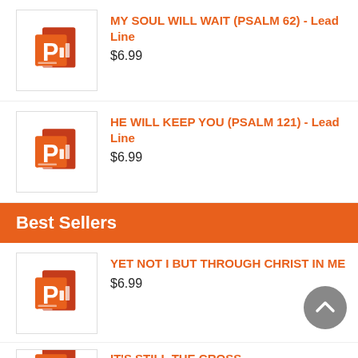[Figure (logo): Microsoft PowerPoint icon]
MY SOUL WILL WAIT (PSALM 62) - Lead Line
$6.99
[Figure (logo): Microsoft PowerPoint icon]
HE WILL KEEP YOU (PSALM 121) - Lead Line
$6.99
Best Sellers
[Figure (logo): Microsoft PowerPoint icon]
YET NOT I BUT THROUGH CHRIST IN ME
$6.99
[Figure (logo): Microsoft PowerPoint icon (partially visible)]
IT'S STILL THE CROSS